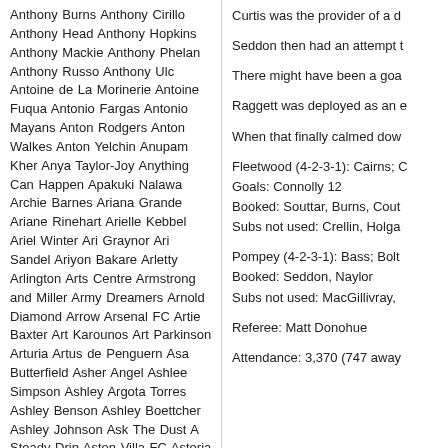Anthony Burns Anthony Cirillo Anthony Head Anthony Hopkins Anthony Mackie Anthony Phelan Anthony Russo Anthony Ulc Antoine de La Morinerie Antoine Fuqua Antonio Fargas Antonio Mayans Anton Rodgers Anton Walkes Anton Yelchin Anupam Kher Anya Taylor-Joy Anything Can Happen Apakuki Nalawa Archie Barnes Ariana Grande Ariane Rinehart Arielle Kebbel Ariel Winter Ari Graynor Ari Sandel Ariyon Bakare Arletty Arlington Arts Centre Armstrong and Miller Army Dreamers Arnold Diamond Arrow Arsenal FC Artie Baxter Art Karounos Art Parkinson Arturia Artus de Penguern Asa Butterfield Asher Angel Ashlee Simpson Ashley Argota Torres Ashley Benson Ashley Boettcher Ashley Johnson Ask The Dust A Steady Drip Aston Villa FC Astoria A Swingers Weekend Atlanta Falcons Atlanta FC Atlético de Kolkata Atomic Kitten Attila C. Arpa Aubrey Plaza Audrey Bastien Audrey Tautou Audrey Whitby August Schellenberg Aural Sculpture Aurore Delisse Dit L'Espagne Aurélia Arto Austin Abrams Austin Bickel Austin Fuhrberger Autels ACR Autumn In The Vineyard
Curtis was the provider of a d...
Seddon then had an attempt t...
There might have been a goa...
Raggett was deployed as an e...
When that finally calmed dow...
Fleetwood (4-2-3-1): Cairns; C... Goals: Connolly 12 Booked: Souttar, Burns, Cout... Subs not used: Crellin, Holga...
Pompey (4-2-3-1): Bass; Bolt... Booked: Seddon, Naylor Subs not used: MacGillivray, ...
Referee: Matt Donohue
Attendance: 3,370 (747 away...